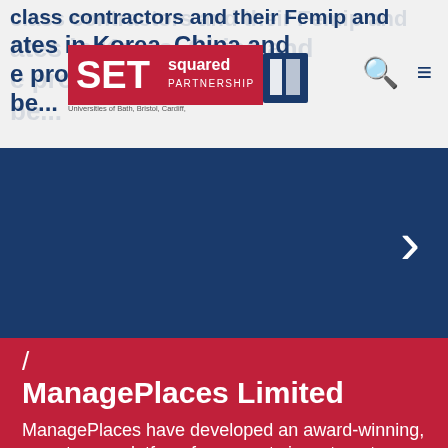Class Contractors and their Femip and affiliates in Korea, China and ... provide the device to be...
[Figure (logo): SETsquared Partnership logo — red rectangle with white SET text, 'squared' in smaller text, partnership below, universities list: Bath, Bristol, Cardiff, Exeter, Southampton & Surrey]
ManagePlaces Limited
ManagePlaces have developed an award-winning, easy-to-use platform for property investment, property development and construction companies that connects teams digitally and